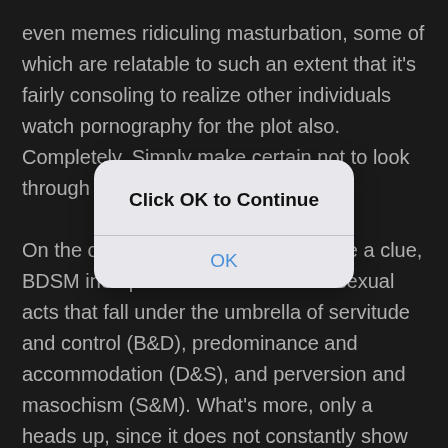even memes ridiculing masturbation, some of which are relatable to such an extent that it's fairly consoling to realize other individuals watch pornography for the plot also. Completely. Simply make certain not to look through any of these at work.

On the off chance that you didn't have a clue, BDSM incorporates sexual and nonsexual acts that fall under the umbrella of servitude and control (B&D), predominance and accommodation (D&S), and perversion and masochism (S&M). What's more, only a heads up, since it does not constantly show in dream: Actually rehearsing BDSM requires a great deal of
[Figure (screenshot): A modal dialog box overlaying the dark background text. Title reads 'Click OK to Continue' in bold black text. Below a horizontal divider is a blue 'OK' button text.]